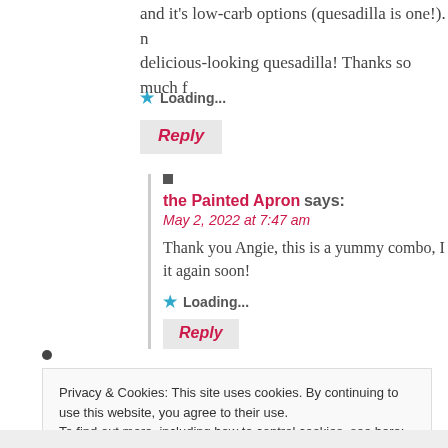and it's low-carb options (quesadilla is one!). delicious-looking quesadilla! Thanks so much f
Loading...
Reply
the Painted Apron says: May 2, 2022 at 7:47 am
Thank you Angie, this is a yummy combo, I w it again soon!
Loading...
Reply
Privacy & Cookies: This site uses cookies. By continuing to use this website, you agree to their use. To find out more, including how to control cookies, see here: Cookie Policy
Close and accept